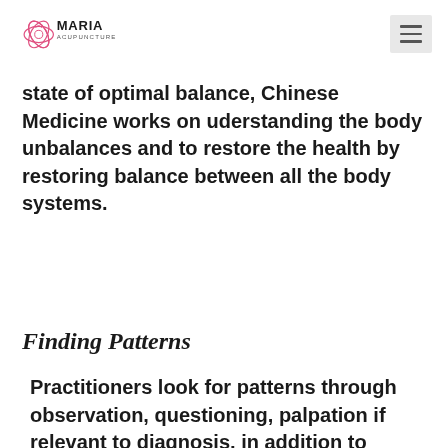Maria Acupuncture
state of optimal balance, Chinese Medicine works on uderstanding the body unbalances and to restore the health by restoring balance between all the body systems.
Finding Patterns
Practitioners look for patterns through observation, questioning, palpation if relevant to diagnosis, in addition to feeling the pulse and